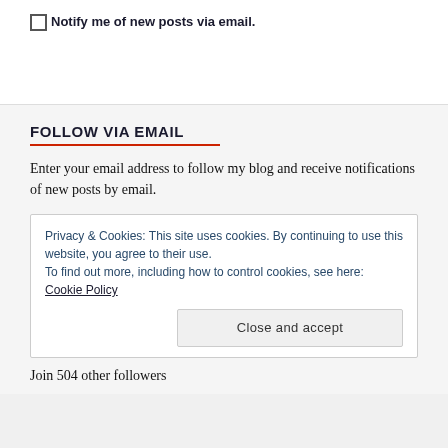Notify me of new posts via email.
FOLLOW VIA EMAIL
Enter your email address to follow my blog and receive notifications of new posts by email.
Privacy & Cookies: This site uses cookies. By continuing to use this website, you agree to their use.
To find out more, including how to control cookies, see here: Cookie Policy
Close and accept
Join 504 other followers